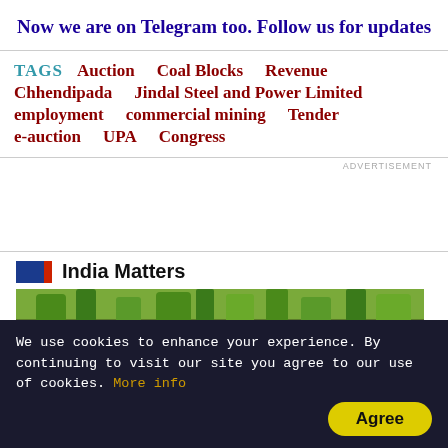Now we are on Telegram too. Follow us for updates
TAGS  Auction  Coal Blocks  Revenue  Chhendipada  Jindal Steel and Power Limited  employment  commercial mining  Tender  e-auction  UPA  Congress
ADVERTISEMENT
India Matters
[Figure (photo): Outdoor scene with trees and greenery]
We use cookies to enhance your experience. By continuing to visit our site you agree to our use of cookies. More info